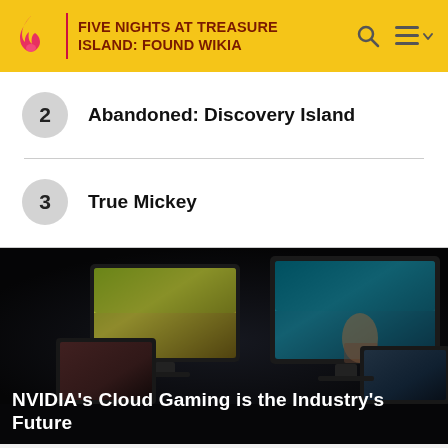FIVE NIGHTS AT TREASURE ISLAND: FOUND WIKIA
2  Abandoned: Discovery Island
3  True Mickey
[Figure (photo): Dark background with multiple gaming monitors displaying colorful game scenes. Two large curved monitors in the back, two smaller monitors in the front corners.]
NVIDIA's Cloud Gaming is the Industry's Future